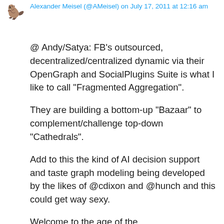Alexander Meisel (@AMeisel) on July 17, 2011 at 12:16 am
@ Andy/Satya: FB's outsourced, decentralized/centralized dynamic via their OpenGraph and SocialPlugins Suite is what I like to call “Fragmented Aggregation”.
They are building a bottom-up “Bazaar” to complement/challenge top-down “Cathedrals”.
Add to this the kind of AI decision support and taste graph modeling being developed by the likes of @cdixon and @hunch and this could get way sexy.
Welcome to the age of the Ambient/SynapticWeb!